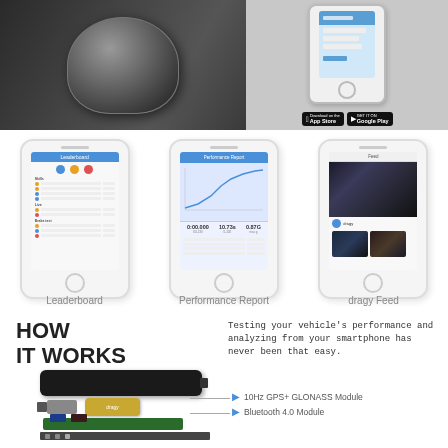[Figure (photo): Hero image showing a motorcycle helmet on the left half, and a smartphone showing an app interface with App Store and Google Play download badges on the right half]
[Figure (screenshot): Three smartphones showing different app screens: Leaderboard, Performance Report, and dragy Feed]
Leaderboard
Performance Report
dragy Feed
HOW
IT WORKS
Testing your vehicle's performance and analyzing from your smartphone has never been that easy.
[Figure (photo): dragy GPS performance device shown disassembled with components including main body, gold module labeled 'dragy', green circuit board, and chips]
10Hz GPS+ GLONASS Module
Bluetooth 4.0 Module